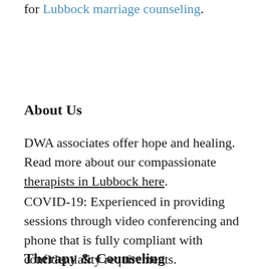for Lubbock marriage counseling.
About Us
DWA associates offer hope and healing. Read more about our compassionate therapists in Lubbock here.
COVID-19: Experienced in providing sessions through video conferencing and phone that is fully compliant with confidentiality requirements.
Therapy & Counseling